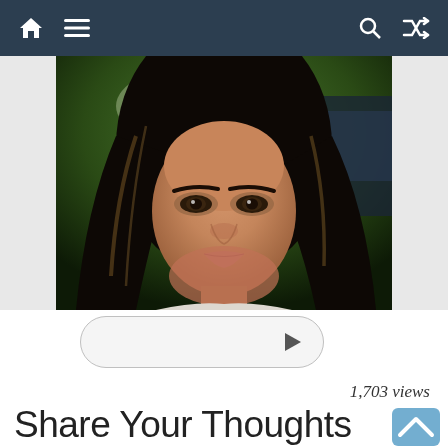Navigation bar with home, menu, search, and shuffle icons
[Figure (photo): Close-up photo of a woman with long dark hair, brown eyes, wearing light-colored clothing, outdoors with green foliage and a car visible in background]
[Figure (screenshot): Video player control bar with rounded rectangle border and play button triangle on the right side]
1,703 views
Share Your Thoughts